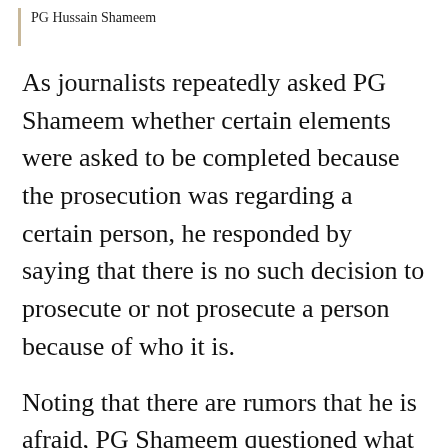PG Hussain Shameem
As journalists repeatedly asked PG Shameem whether certain elements were asked to be completed because the prosecution was regarding a certain person, he responded by saying that there is no such decision to prosecute or not prosecute a person because of who it is.
Noting that there are rumors that he is afraid, PG Shameem questioned what he should be afraid of and reminded the people that he even prosecuted state ministers of this government